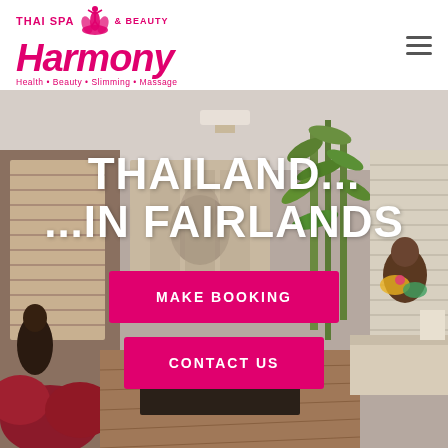[Figure (logo): Thai Spa & Beauty Harmony logo with yoga figure, pink/magenta color. Text: THAI SPA & BEAUTY, Harmony, Health • Beauty • Slimming • Massage]
[Figure (photo): Interior of a Thai spa reception/lobby area with bamboo plants, wooden furniture, warm lighting, and a staff member visible]
THAILAND... ...IN FAIRLANDS
MAKE BOOKING
CONTACT US